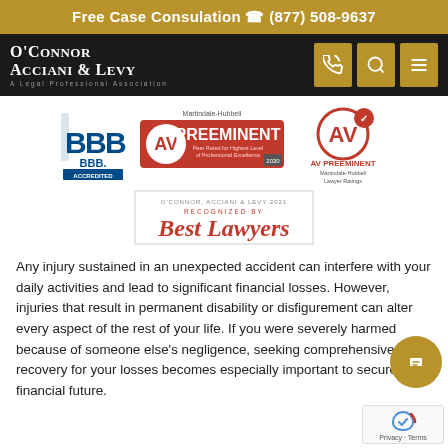Free Case Consulation ☎ (877) 508-9637
[Figure (logo): O'Connor Acciani & Levy law firm logo with navigation icons (phone, search, menu) on dark background]
[Figure (logo): BBB Accredited Business badge, AV Preeminent Martindale-Hubbell 2020 badge, AV Preeminent badge, and Best Lawyers 2021 recognition badge for O'Connor Acciani & Levy]
Any injury sustained in an unexpected accident can interfere with your daily activities and lead to significant financial losses. However, injuries that result in permanent disability or disfigurement can alter every aspect of the rest of your life. If you were severely harmed because of someone else's negligence, seeking comprehensive civil recovery for your losses becomes especially important to secure your financial future.